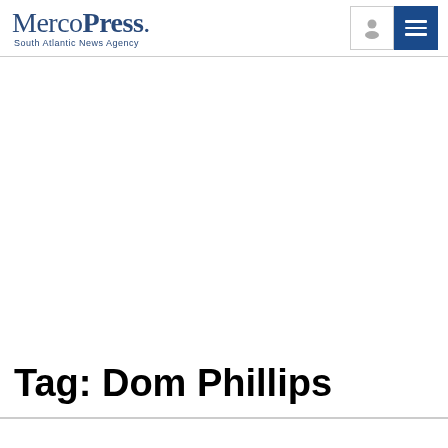MercoPress. South Atlantic News Agency
Tag: Dom Phillips